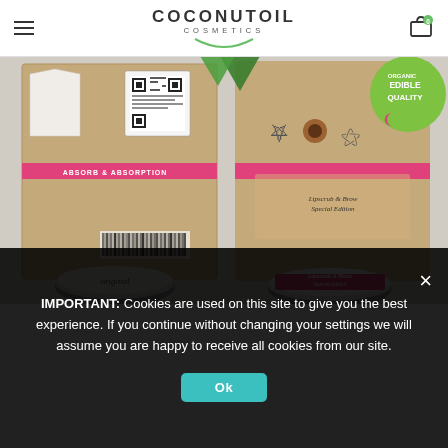COCONUTOIL COSMETICS
[Figure (photo): Product display showing Coconutoil Cosmetics packaging — two kraft-paper boxes with pink and green accents, QR codes, barcode, Organic/Edible Quality seal, and two round tin products labeled 'original' and 'Lipscrub & Brow Special Edition Paving & Care']
IMPORTANT: Cookies are used on this site to give you the best experience. If you continue without changing your settings we will assume you are happy to receive all cookies from our site.